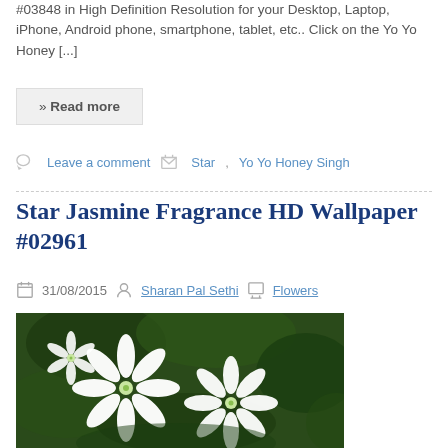#03848 in High Definition Resolution for your Desktop, Laptop, iPhone, Android phone, smartphone, tablet, etc.. Click on the Yo Yo Honey [...]
» Read more
Leave a comment   Star, Yo Yo Honey Singh
Star Jasmine Fragrance HD Wallpaper #02961
31/08/2015   Sharan Pal Sethi   Flowers
[Figure (photo): Close-up photo of white star jasmine flowers (Trachelospermum jasminoides) with bright white petals and green centers against dark green leaves]